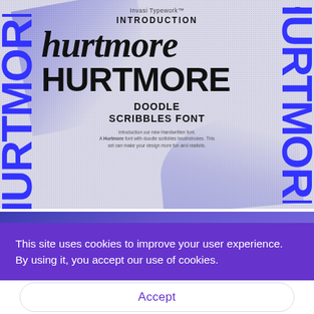[Figure (illustration): Font product showcase banner for 'Hurtmore' doodle scribbles font by Invasi Typework. Grainy/textured light gray background with blue brush stroke decorations. The word HURTMORE appears in large blue bold letters vertically on both left and right sides. Center shows the font name in two styles: handwritten brush script lowercase 'hurtmore' and uppercase blocky 'HURTMORE'. Labels: INTRODUCTION, DOODLE SCRIBBLES FONT, Invasi Typework trademark. Small descriptive text below introduces the font.]
This site uses cookies to improve your user experience. By using it, you accept our use of cookies.
Accept